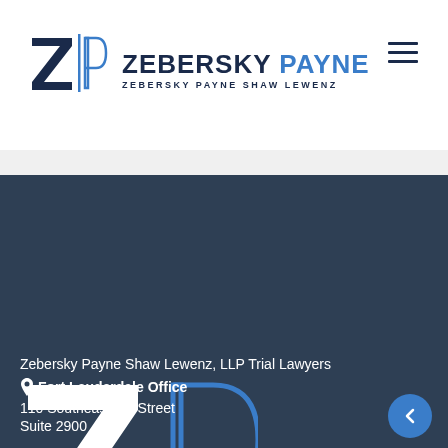[Figure (logo): Zebersky Payne law firm logo with ZP monogram and firm name in header]
[Figure (logo): ZP monogram watermark logo in dark footer, large Z in white and P outline in blue]
Zebersky Payne Shaw Lewenz, LLP Trial Lawyers
Fort Lauderdale Office
110 Southeast 6th Street
Suite 2900